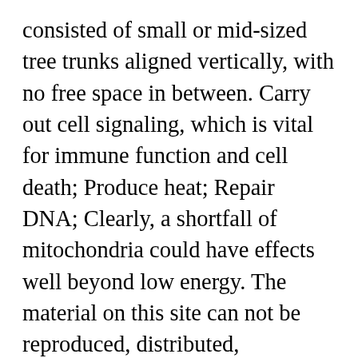consisted of small or mid-sized tree trunks aligned vertically, with no free space in between. Carry out cell signaling, which is vital for immune function and cell death; Produce heat; Repair DNA; Clearly, a shortfall of mitochondria could have effects well beyond low energy. The material on this site can not be reproduced, distributed, transmitted, cached or otherwise used, except with prior written permission of Multiply. Highly dynamic cell organelles, mitochondria , are responsible not only for energy production, but also for cellular metabolism, cell growth and survival as well as gene regulations. Neurons generally have a larger abundance of mitochondria than other cells